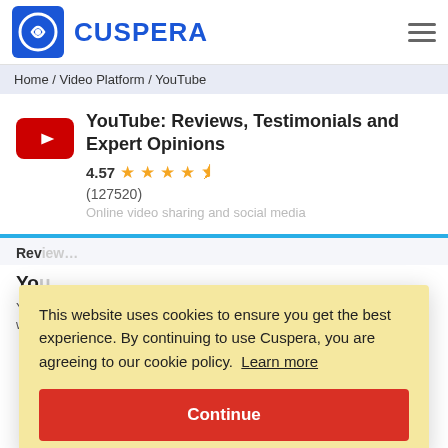CUSPERA
Home / Video Platform / YouTube
YouTube: Reviews, Testimonials and Expert Opinions
4.57 ★★★★½
(127520)
Online video sharing and social media
Rev
Yo
YouT
where independent content creators could share their
This website uses cookies to ensure you get the best experience. By continuing to use Cuspera, you are agreeing to our cookie policy. Learn more
Continue